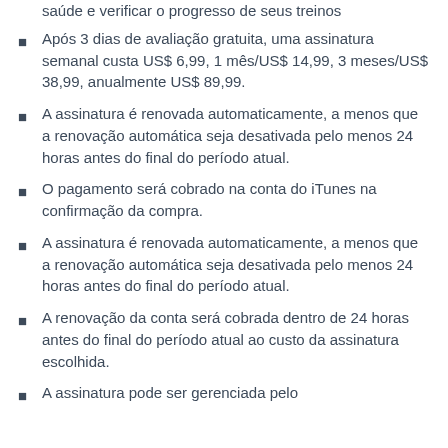saúde e verificar o progresso de seus treinos
Após 3 dias de avaliação gratuita, uma assinatura semanal custa US$ 6,99, 1 mês/US$ 14,99, 3 meses/US$ 38,99, anualmente US$ 89,99.
A assinatura é renovada automaticamente, a menos que a renovação automática seja desativada pelo menos 24 horas antes do final do período atual.
O pagamento será cobrado na conta do iTunes na confirmação da compra.
A assinatura é renovada automaticamente, a menos que a renovação automática seja desativada pelo menos 24 horas antes do final do período atual.
A renovação da conta será cobrada dentro de 24 horas antes do final do período atual ao custo da assinatura escolhida.
A assinatura pode ser gerenciada pelo...